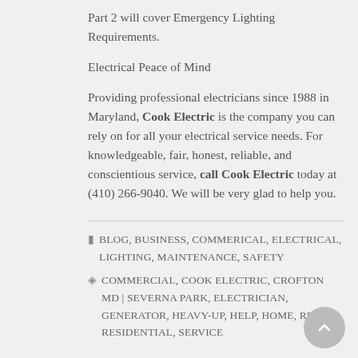Part 2 will cover Emergency Lighting Requirements.
Electrical Peace of Mind
Providing professional electricians since 1988 in Maryland, Cook Electric is the company you can rely on for all your electrical service needs. For knowledgeable, fair, honest, reliable, and conscientious service, call Cook Electric today at (410) 266-9040. We will be very glad to help you.
BLOG, BUSINESS, COMMERICAL, ELECTRICAL, LIGHTING, MAINTENANCE, SAFETY
COMMERCIAL, COOK ELECTRIC, CROFTON MD | SEVERNA PARK, ELECTRICIAN, GENERATOR, HEAVY-UP, HELP, HOME, REPAIR, RESIDENTIAL, SERVICE